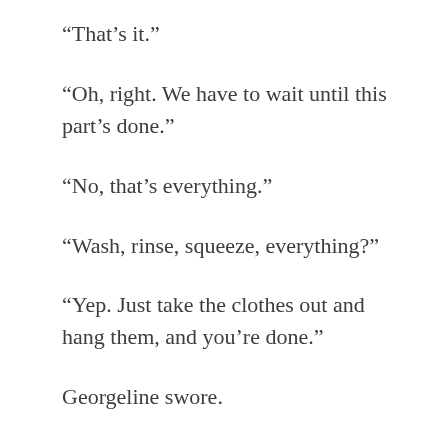“That’s it.”
“Oh, right. We have to wait until this part’s done.”
“No, that’s everything.”
“Wash, rinse, squeeze, everything?”
“Yep. Just take the clothes out and hang them, and you’re done.”
Georgeline swore.
I never realised just how revolutionary